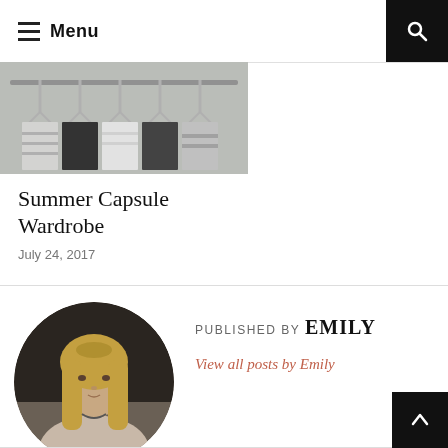Menu
[Figure (photo): Photo of a clothing rack with garments hanging, partially cropped at top]
Summer Capsule Wardrobe
July 24, 2017
[Figure (photo): Circular profile photo of Emily, a woman with long blonde hair and braids]
PUBLISHED BY EMILY
View all posts by Emily